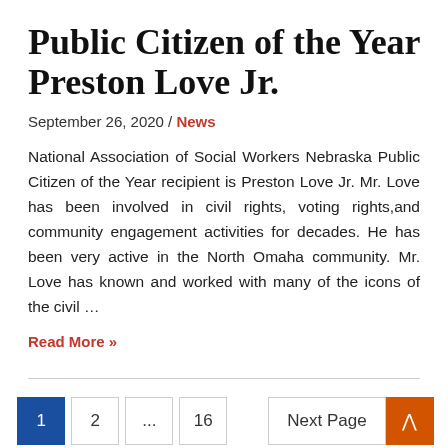Public Citizen of the Year Preston Love Jr.
September 26, 2020 / News
National Association of Social Workers Nebraska Public Citizen of the Year recipient is Preston Love Jr. Mr. Love has been involved in civil rights, voting rights,and community engagement activities for decades. He has been very active in the North Omaha community. Mr. Love has known and worked with many of the icons of the civil …
Read More »
1  2  ...  16   Next Page  ↑